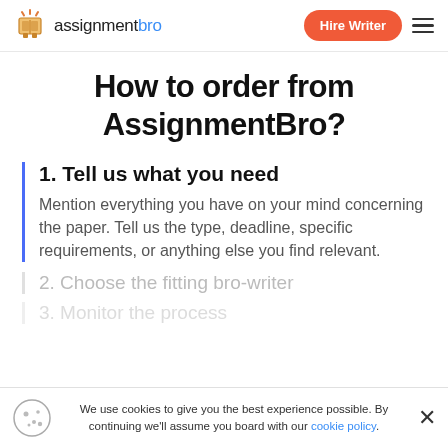assignmentbro | Hire Writer
How to order from AssignmentBro?
1. Tell us what you need
Mention everything you have on your mind concerning the paper. Tell us the type, deadline, specific requirements, or anything else you find relevant.
2. Choose the fitting bro-writer
3. Monitor the process
We use cookies to give you the best experience possible. By continuing we'll assume you board with our cookie policy.